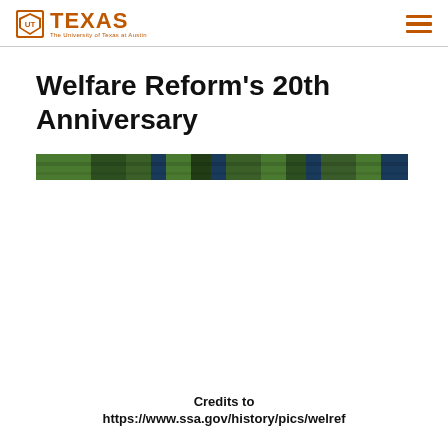TEXAS The University of Texas at Austin
Welfare Reform’s 20th Anniversary
[Figure (photo): Narrow horizontal strip photo showing greenery/trees and blue elements, likely a campus or outdoor scene]
Credits to https://www.ssa.gov/history/pics/welref